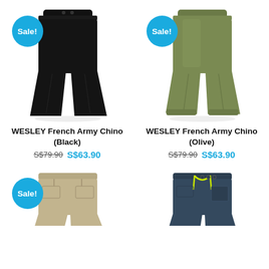[Figure (photo): Black chino pants with Sale! badge]
[Figure (photo): Olive chino pants with Sale! badge]
WESLEY French Army Chino (Black)
S$79.90  S$63.90
WESLEY French Army Chino (Olive)
S$79.90  S$63.90
[Figure (photo): Beige/khaki shorts with Sale! badge, partially visible]
[Figure (photo): Dark navy shorts with neon yellow drawstring, partially visible]